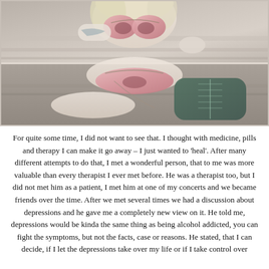[Figure (illustration): A digital illustration of a fantasy female character with blonde hair wearing a pink ornate bikini-style armor with floral and scroll designs, teal/green thigh-high boots with lacing, chain accessories, and tattoos on her arm. She is posed reclining on a stone surface. The image is split into two panels.]
For quite some time, I did not want to see that. I thought with medicine, pills and therapy I can make it go away – I just wanted to 'heal'. After many different attempts to do that, I met a wonderful person, that to me was more valuable than every therapist I ever met before. He was a therapist too, but I did not met him as a patient, I met him at one of my concerts and we became friends over the time. After we met several times we had a discussion about depressions and he gave me a completely new view on it. He told me, depressions would be kinda the same thing as being alcohol addicted, you can fight the symptoms, but not the facts, case or reasons. He stated, that I can decide, if I let the depressions take over my life or if I take control over